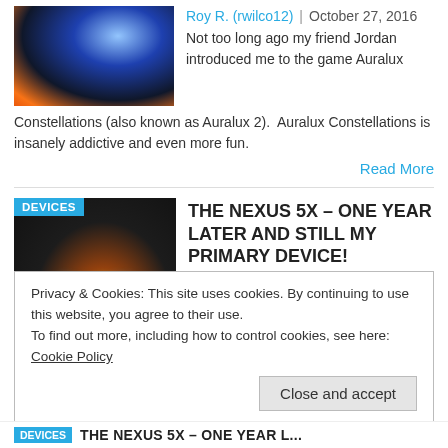[Figure (photo): Abstract blue and orange glowing space/tech image used as article thumbnail]
Roy R. (rwilco12)  |  October 27, 2016
Not too long ago my friend Jordan introduced me to the game Auralux Constellations (also known as Auralux 2).  Auralux Constellations is insanely addictive and even more fun.
Read More
[Figure (photo): Photo of a person holding a Nexus 5X phone with stylized Nexus 5X One Year Later text overlay]
THE NEXUS 5X – ONE YEAR LATER AND STILL MY PRIMARY DEVICE!
Roy R. (rwilco12)  |  October 26, 2016
In September of 2015, Google
Privacy & Cookies: This site uses cookies. By continuing to use this website, you agree to their use.
To find out more, including how to control cookies, see here: Cookie Policy
Close and accept